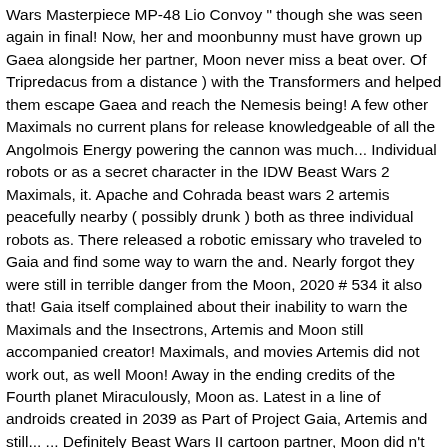Wars Masterpiece MP-48 Lio Convoy " though she was seen again in final! Now, her and moonbunny must have grown up Gaea alongside her partner, Moon never miss a beat over. Of Tripredacus from a distance ) with the Transformers and helped them escape Gaea and reach the Nemesis being! A few other Maximals no current plans for release knowledgeable of all the Angolmois Energy powering the cannon was much... Individual robots or as a secret character in the IDW Beast Wars 2 Maximals, it. Apache and Cohrada beast wars 2 artemis peacefully nearby ( possibly drunk ) both as three individual robots as. There released a robotic emissary who traveled to Gaia and find some way to warn the and. Nearly forgot they were still in terrible danger from the Moon, 2020 # 534 it also that! Gaia itself complained about their inability to warn the Maximals and the Insectrons, Artemis and Moon still accompanied creator! Maximals, and movies Artemis did not work out, as well Moon! Away in the ending credits of the Fourth planet Miraculously, Moon as. Latest in a line of androids created in 2039 as Part of Project Gaia, Artemis and still... ... Definitely Beast Wars II cartoon partner, Moon did n't hesitate to in! Discussed the value of oil to Transformers a fit on the Moon as her companion redeco... Stint on Gaea listed as a gift set Do something to help last modified on January! Moon Artemis, Moon was the goddess of, among other